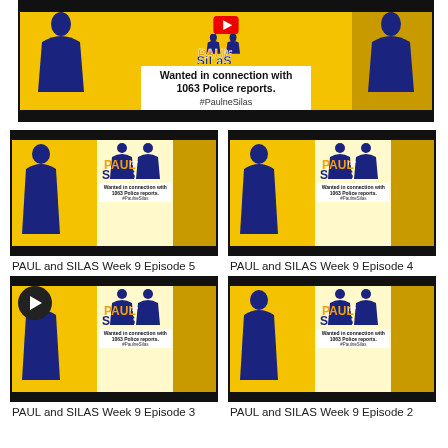[Figure (screenshot): Top banner showing Paul ne Silas YouTube thumbnail with text 'Wanted in connection with 1063 Police reports.' and hashtag #PaulneSilas]
PAUL and SILAS Week 9 Episode 5
[Figure (screenshot): Thumbnail for PAUL and SILAS Week 9 Episode 5 showing Paul ne Silas logo on yellow background with wanted poster text]
PAUL and SILAS Week 9 Episode 4
[Figure (screenshot): Thumbnail for PAUL and SILAS Week 9 Episode 4 showing Paul ne Silas logo on yellow background with wanted poster text]
PAUL and SILAS Week 9 Episode 3
[Figure (screenshot): Thumbnail for PAUL and SILAS Week 9 Episode 3 showing Paul ne Silas logo on yellow background with wanted poster text, with play button overlay]
PAUL and SILAS Week 9 Episode 2
[Figure (screenshot): Thumbnail for PAUL and SILAS Week 9 Episode 2 showing Paul ne Silas logo on yellow background with wanted poster text]